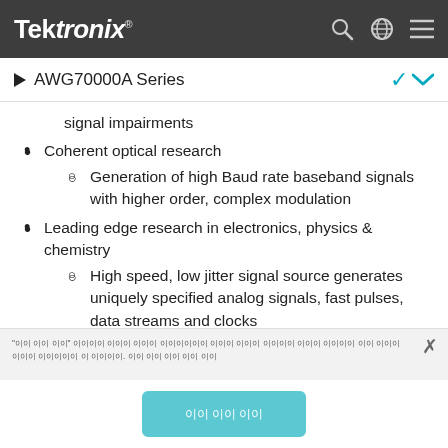Tektronix
AWG70000A Series
signal impairments
Coherent optical research
Generation of high Baud rate baseband signals with higher order, complex modulation
Leading edge research in electronics, physics & chemistry
High speed, low jitter signal source generates uniquely specified analog signals, fast pulses, data streams and clocks
"이 이 이이" 이이이이 이이이 이이이 이이이이이이 이이이 이이이 이이이이 이이이 이이이이 이이 이이이 이이이 이이이이이 이 이이이이. 이이 이이 이이 이이 이이
이이 이이이이